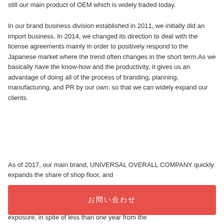still our main product of OEM which is widely traded today.
In our brand business division established in 2011, we initially did an import business. In 2014, we changed its direction to deal with the license agreements mainly in order to positively respond to the Japanese market where the trend often changes in the short term.As we basically have the know-how and the productivity, it gives us an advantage of doing all of the process of branding, planning, manufacturing, and PR by our own, so that we can widely expand our clients.
As of 2017, our main brand, UNIVERSAL OVERALL COMPANY quickly expands the share of shop floor, and exposure, in spite of less than one year from the